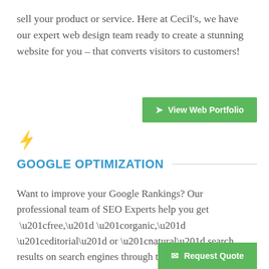sell your product or service. Here at Cecil's, we have our expert web design team ready to create a stunning website for you – that converts visitors to customers!
➤ View Web Portfolio
[Figure (illustration): Small light gray lightning bolt icon]
GOOGLE OPTIMIZATION
Want to improve your Google Rankings? Our professional team of SEO Experts help you get “free,” “organic,” “editorial” or “natural” search results on search engines through the use of our many Google ranking tactics. Get started today and Request a FREE SEO anaylsis!
✉ Request Quote